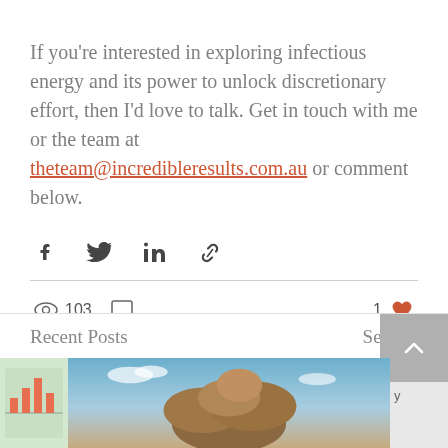If you're interested in exploring infectious energy and its power to unlock discretionary effort, then I'd love to talk. Get in touch with me or the team at theteam@incredibleresults.com.au or comment below.
[Figure (infographic): Social share icons row: Facebook, Twitter, LinkedIn, and link/chain icon]
103 views, 0 comments, 1 like
Recent Posts
See All
[Figure (photo): Thumbnail images of recent posts: a chart image on the left, large rocks balanced against a blue sky in the center, and partial text on the right]